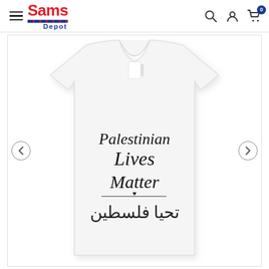Sams Depot — navigation bar with hamburger menu, search, account, and cart (0 items)
[Figure (photo): White t-shirt with printed text 'Palestinian Lives Matter' in English serif font, followed by a small heart divider, and Arabic text 'تحيا فلسطين' below. CANVAS brand tag visible at collar. Left and right carousel navigation arrows visible on either side.]